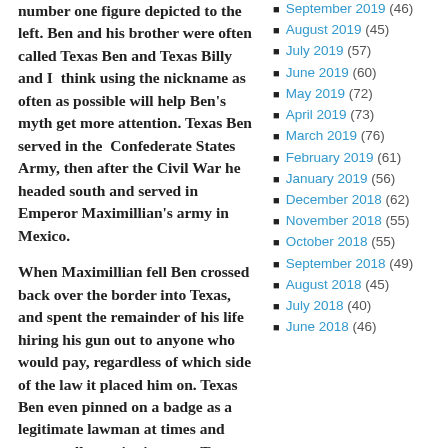number one figure depicted to the left. Ben and his brother were often called Texas Ben and Texas Billy and I think using the nickname as often as possible will help Ben's myth get more attention. Texas Ben served in the Confederate States Army, then after the Civil War he headed south and served in Emperor Maximillian's army in Mexico.
When Maximillian fell Ben crossed back over the border into Texas, and spent the remainder of his life hiring his gun out to anyone who would pay, regardless of which side of the law it placed him on. Texas Ben even pinned on a badge as a legitimate lawman at times and supposedly put in time as a Texas Ranger at one point in his career.
Thompson was even involved in the infamous Railroad War between the
September 2019 (46)
August 2019 (45)
July 2019 (57)
June 2019 (60)
May 2019 (72)
April 2019 (73)
March 2019 (76)
February 2019 (61)
January 2019 (56)
December 2018 (62)
November 2018 (55)
October 2018 (55)
September 2018 (49)
August 2018 (45)
July 2018 (40)
June 2018 (46)